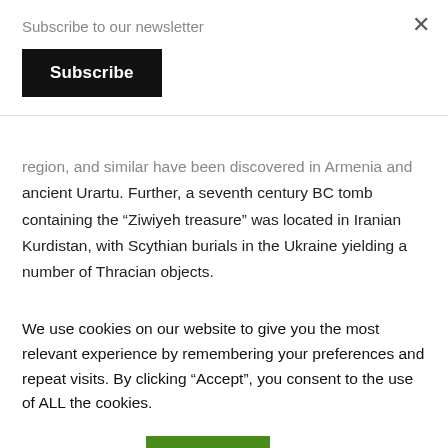Subscribe to our newsletter
Subscribe
region, and similar have been discovered in Armenia and ancient Urartu. Further, a seventh century BC tomb containing the “Ziwiyeh treasure” was located in Iranian Kurdistan, with Scythian burials in the Ukraine yielding a number of Thracian objects.
We use cookies on our website to give you the most relevant experience by remembering your preferences and repeat visits. By clicking “Accept”, you consent to the use of ALL the cookies.
Cookie settings
ACCEPT